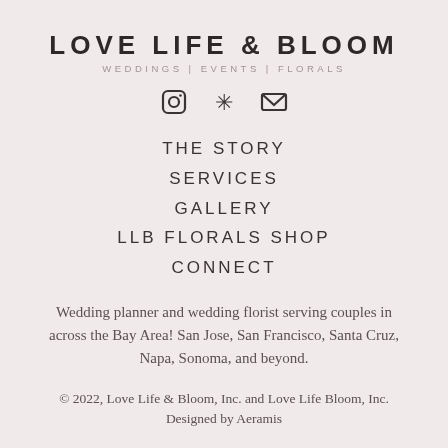LOVE LIFE & BLOOM
WEDDINGS | EVENTS | FLORALS
[Figure (other): Three icons: Instagram camera icon, Yelp burst/star icon, envelope/email icon]
THE STORY
SERVICES
GALLERY
LLB FLORALS SHOP
CONNECT
Wedding planner and wedding florist serving couples in across the Bay Area! San Jose, San Francisco, Santa Cruz, Napa, Sonoma, and beyond.
© 2022, Love Life & Bloom, Inc. and Love Life Bloom, Inc.
Designed by Aeramis